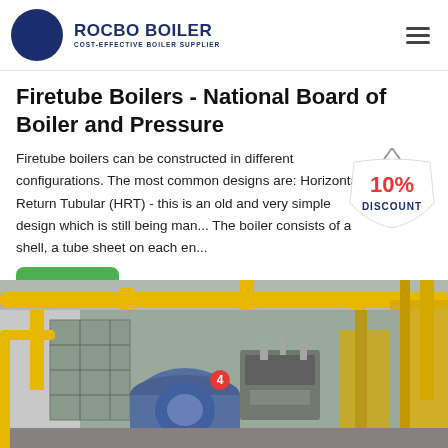[Figure (logo): Rocbo Boiler logo with circular icon and text 'ROCBO BOILER / COST-EFFECTIVE BOILER SUPPLIER']
Firetube Boilers - National Board of Boiler and Pressure
Firetube boilers can be constructed in different configurations. The most common designs are: Horizontal Return Tubular (HRT) - this is an old and very simple design which is still being man... The boiler consists of a shell, a tube sheet on each en...
[Figure (illustration): 10% DISCOUNT badge/sticker overlay]
[Figure (photo): Industrial boiler facility interior showing yellow pipes, large industrial boiler equipment, and factory infrastructure]